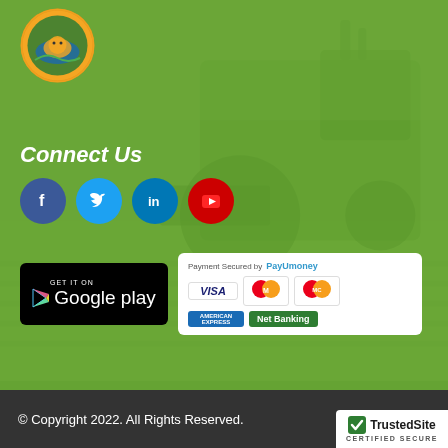[Figure (logo): Circular logo with agricultural imagery, orange and green colors with text]
[Figure (photo): Green-tinted background image of a combine harvester in a wheat/rice field]
Connect Us
[Figure (infographic): Social media icons: Facebook (blue circle), Twitter (light blue circle), LinkedIn (dark blue circle), YouTube (red circle)]
[Figure (infographic): Get it on Google Play badge - black background with white text and Play Store triangle icon]
[Figure (infographic): Payment Secured by PayUmoney panel showing VISA, Maestro, MasterCard, American Express, and Net Banking logos]
© Copyright 2022. All Rights Reserved.
[Figure (infographic): TrustedSite Certified Secure badge - white background with checkmark, TrustedSite text, and CERTIFIED SECURE subtitle]